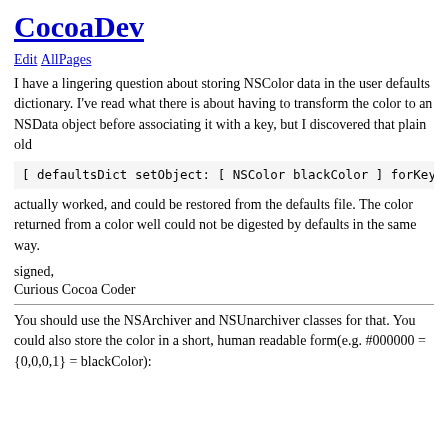CocoaDev
Edit AllPages
I have a lingering question about storing NSColor data in the user defaults dictionary. I've read what there is about having to transform the color to an NSData object before associating it with a key, but I discovered that plain old
actually worked, and could be restored from the defaults file. The color returned from a color well could not be digested by defaults in the same way.
signed,
Curious Cocoa Coder
You should use the NSArchiver and NSUnarchiver classes for that. You could also store the color in a short, human readable form(e.g. #000000 = {0,0,0,1} = blackColor):